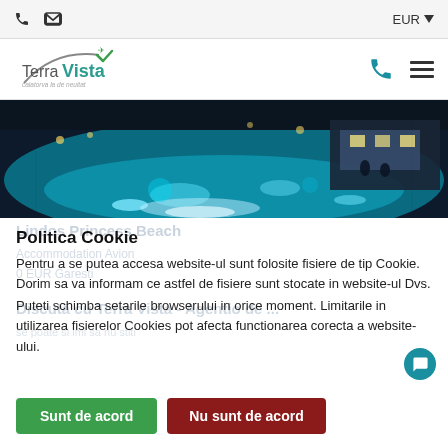EUR ▼ (top navigation bar with phone and email icons)
[Figure (logo): TerraVista travel agency logo with arc and checkmark, subtitle 'calatorva la de neuitat']
[Figure (photo): Illuminated resort pool at night with blue water reflections and bar area]
Politica Cookie
Pentru a se putea accesa website-ul sunt folosite fisiere de tip Cookie. Dorim sa va informam ce astfel de fisiere sunt stocate in website-ul Dvs.
Puteti schimba setarile browserului in orice moment. Limitarile in utilizarea fisierelor Cookies pot afecta functionarea corecta a website-ului.
Sunt de acord
Nu sunt de acord